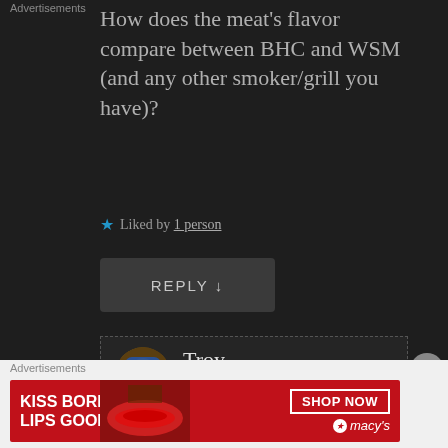How does the meat's flavor compare between BHC and WSM (and any other smoker/grill you have)?
★ Liked by 1 person
REPLY ↓
Troy
June 1, 2018 • 10:21 pm
Thanks for the comment!
Advertisements
[Figure (photo): Macy's advertisement banner: KISS BORING LIPS GOODBYE, with a woman's lips photo and SHOP NOW button with Macy's logo]